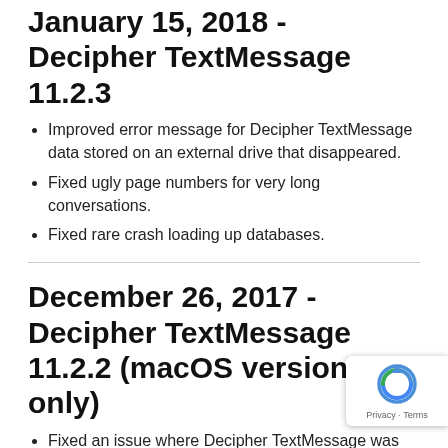January 15, 2018 - Decipher TextMessage 11.2.3
Improved error message for Decipher TextMessage data stored on an external drive that disappeared.
Fixed ugly page numbers for very long conversations.
Fixed rare crash loading up databases.
December 26, 2017 - Decipher TextMessage 11.2.2 (macOS version only)
Fixed an issue where Decipher TextMessage was bouncing in the dock on OS X Mavericks.
December 21, 2017 - Decipher TextMessage 11.2.2